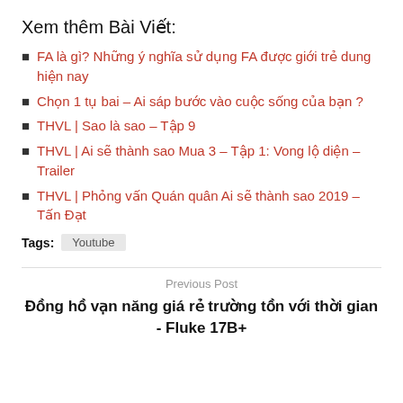Xem thêm Bài Viết:
FA là gì? Những ý nghĩa sử dụng FA được giới trẻ dung hiện nay
Chọn 1 tụ bai – Ai sáp bước vào cuộc sống của bạn ?
THVL | Sao là sao – Tập 9
THVL | Ai sẽ thành sao Mua 3 – Tập 1: Vong lộ diện – Trailer
THVL | Phỏng vấn Quán quân Ai sẽ thành sao 2019 – Tấn Đạt
Tags: Youtube
Previous Post
Đồng hồ vạn năng giá rẻ trường tồn với thời gian - Fluke 17B+